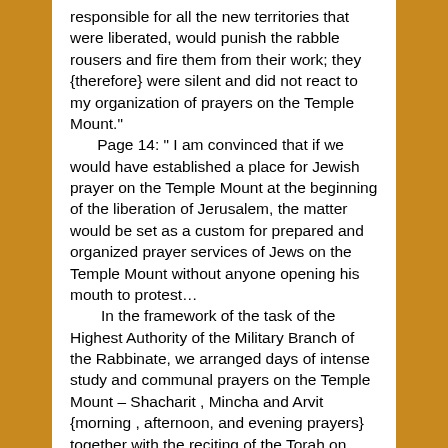responsible for all the new territories that were liberated, would punish the rabble rousers and fire them from their work; they {therefore} were silent and did not react to my organization of prayers on the Temple Mount."
    Page 14: " I am convinced that if we would have established a place for Jewish prayer on the Temple Mount at the beginning of the liberation of Jerusalem, the matter would be set as a custom for prepared and organized prayer services of Jews on the Temple Mount without anyone opening his mouth to protest…
    In the framework of the task of the Highest Authority of the Military Branch of the Rabbinate, we arranged days of intense study and communal prayers on the Temple Mount – Shacharit , Mincha and Arvit {morning , afternoon, and evening prayers} together with the reciting of the Torah on Sabbaths, Mondays and